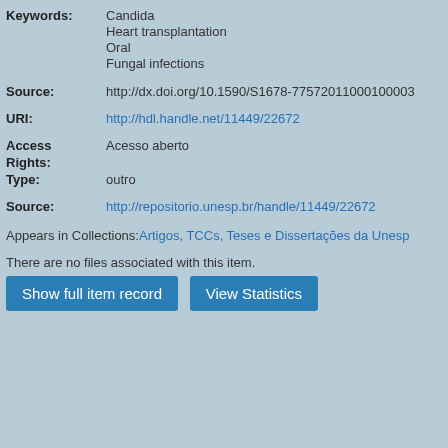Keywords: Candida; Heart transplantation; Oral; Fungal infections
Source: http://dx.doi.org/10.1590/S1678-77572011000100003
URI: http://hdl.handle.net/11449/22672
Access Rights: Acesso aberto
Type: outro
Source: http://repositorio.unesp.br/handle/11449/22672
Appears in Collections: Artigos, TCCs, Teses e Dissertações da Unesp
There are no files associated with this item.
Show full item record   View Statistics